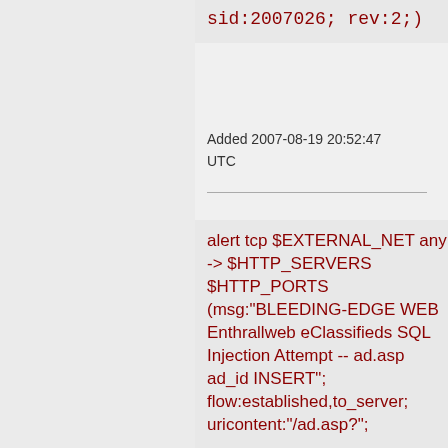sid:2007026; rev:2;)
Added 2007-08-19 20:52:47 UTC
alert tcp $EXTERNAL_NET any -> $HTTP_SERVERS $HTTP_PORTS (msg:"BLEEDING-EDGE WEB Enthrallweb eClassifieds SQL Injection Attempt -- ad.asp ad_id INSERT"; flow:established,to_server; uricontent:"/ad.asp?";